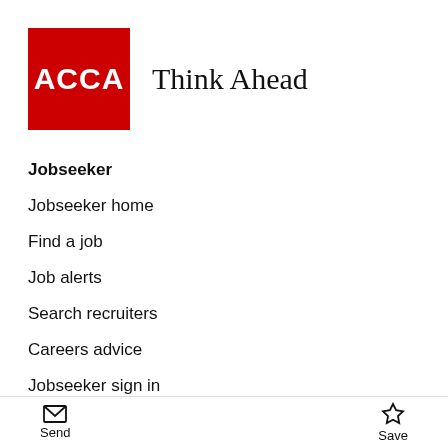[Figure (logo): ACCA red square logo with white bold ACCA text, followed by 'Think Ahead' tagline in serif font]
Jobseeker
Jobseeker home
Find a job
Job alerts
Search recruiters
Careers advice
Jobseeker sign in
Recruiter
Send   Save